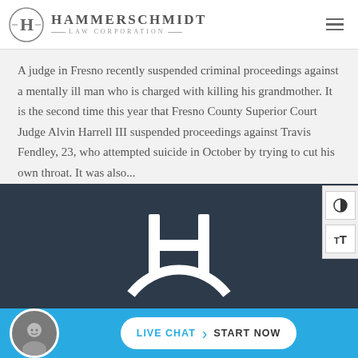Hammerschmidt Law Corporation
A judge in Fresno recently suspended criminal proceedings against a mentally ill man who is charged with killing his grandmother. It is the second time this year that Fresno County Superior Court Judge Alvin Harrell III suspended proceedings against Travis Fendley, 23, who attempted suicide in October by trying to cut his own throat. It was also...
[Figure (logo): Hammerschmidt Law Corporation white H logo mark on dark navy background]
[Figure (photo): Live chat button with attorney photo avatar, teal background, white rounded pill button reading LIVE CHAT > START NOW]